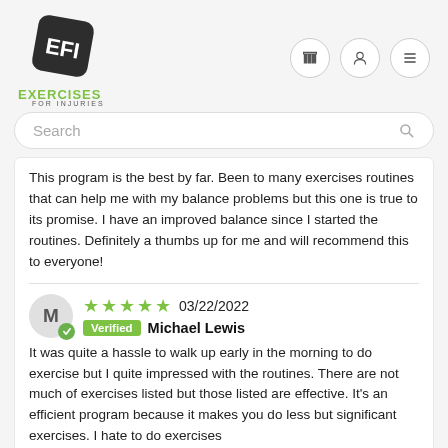[Figure (logo): Exercises for Injuries logo with stylized 'EFI' icon and green text]
This program is the best by far. Been to many exercises routines that can help me with my balance problems but this one is true to its promise. I have an improved balance since I started the routines. Definitely a thumbs up for me and will recommend this to everyone!
★★★★★ 03/22/2022 Verified Michael Lewis
It was quite a hassle to walk up early in the morning to do exercise but I quite impressed with the routines. There are not much of exercises listed but those listed are effective. It's an efficient program because it makes you do less but significant exercises. I hate to do exercises